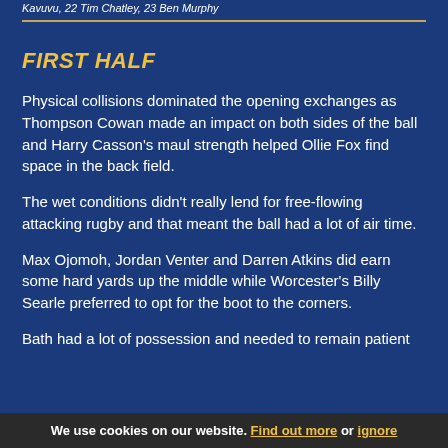Kavuvu, 22 Tim Chatley, 23 Ben Murphy
FIRST HALF
Physical collisions dominated the opening exchanges as Thompson Cowan made an impact on both sides of the ball and Harry Casson's maul strength helped Ollie Fox find space in the back field.
The wet conditions didn't really lend for free-flowing attacking rugby and that meant the ball had a lot of air time.
Max Ojomoh, Jordan Venter and Darren Atkins did earn some hard yards up the middle while Worcester's Billy Searle preferred to opt for the boot to the corners.
Bath had a lot of possession and needed to remain patient
We use cookies on our website. Find out more or ignore